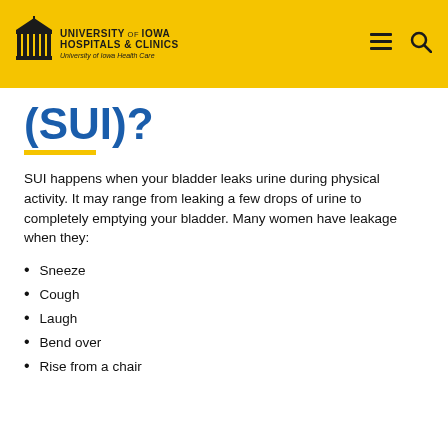University of Iowa Hospitals & Clinics — University of Iowa Health Care
(SUI)?
SUI happens when your bladder leaks urine during physical activity. It may range from leaking a few drops of urine to completely emptying your bladder. Many women have leakage when they:
Sneeze
Cough
Laugh
Bend over
Rise from a chair